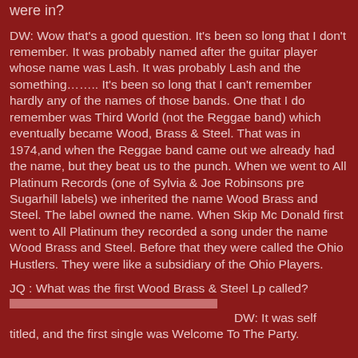were in?
DW: Wow that's a good question. It's been so long that I don't remember. It was probably named after the guitar player whose name was Lash. It was probably Lash and the something…….. It's been so long that I can't remember hardly any of the names of those bands. One that I do remember was Third World (not the Reggae band) which eventually became Wood, Brass & Steel. That was in 1974,and when the Reggae band came out we already had the name, but they beat us to the punch. When we went to All Platinum Records (one of Sylvia & Joe Robinsons pre Sugarhill labels) we inherited the name Wood Brass and Steel. The label owned the name. When Skip Mc Donald first went to All Platinum they recorded a song under the name Wood Brass and Steel. Before that they were called the Ohio Hustlers. They were like a subsidiary of the Ohio Players.
JQ : What was the first Wood Brass & Steel Lp called?
DW: It was self titled, and the first single was Welcome To The Party.